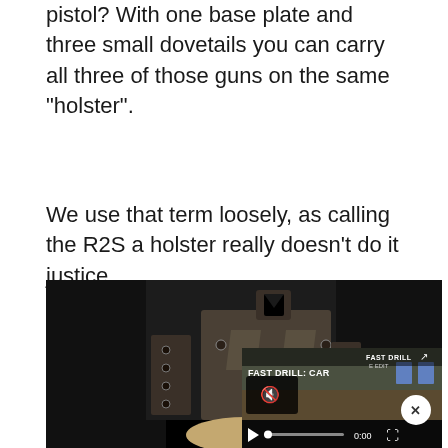pistol? With one base plate and three small dovetails you can carry all three of those guns on the same “holster”.
We use that term loosely, as calling the R2S a holster really doesn’t do it justice.
[Figure (photo): A metal holster/mounting plate system (R2S) shown against a dark background on the left, with a video overlay in the bottom right showing a 'FAST DRILL: CAR' video with playback controls (mute icon, play button, progress bar showing 0:00, and fullscreen button). A close (X) button appears in a white circle on the right side.]